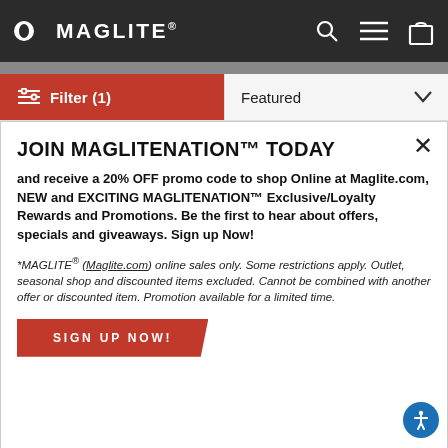MAGLITE
[Figure (screenshot): Navigation bar with Maglite logo, search icon, hamburger menu icon, and shopping bag icon on dark background]
[Figure (screenshot): Filter (1) button in red and Featured sort dropdown]
JOIN MAGLITENATION™ TODAY
and receive a 20% OFF promo code to shop Online at Maglite.com, NEW and EXCITING MAGLITENATION™ Exclusive/Loyalty Rewards and Promotions. Be the first to hear about offers, specials and giveaways. Sign up Now!
*MAGLITE® (Maglite.com) online sales only. Some restrictions apply. Outlet, seasonal shop and discounted items excluded. Cannot be combined with another offer or discounted item. Promotion available for a limited time.
SIGN UP NOW!